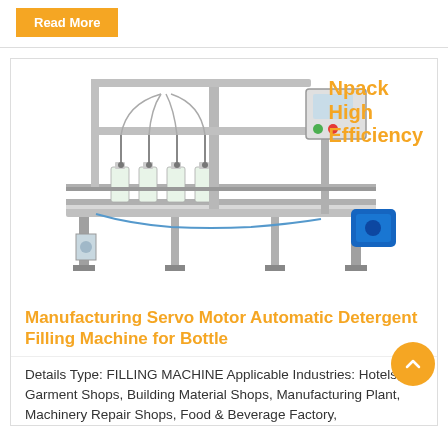Read More
[Figure (photo): Industrial automatic bottle filling machine (servo motor detergent filling machine) with stainless steel frame, conveyor belt, filling nozzles, control panel, and blue motor component.]
Npack High Efficiency
Manufacturing Servo Motor Automatic Detergent Filling Machine for Bottle
Details Type: FILLING MACHINE Applicable Industries: Hotels, Garment Shops, Building Material Shops, Manufacturing Plant, Machinery Repair Shops, Food & Beverage Factory,